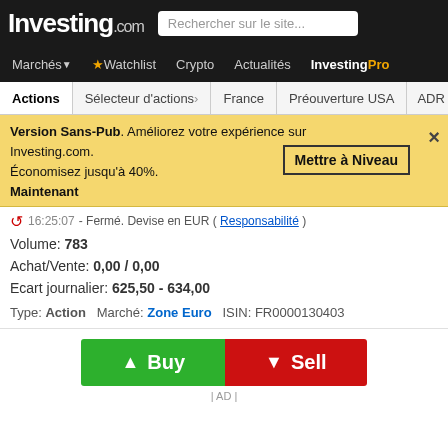Investing.com — Rechercher sur le site...
Marchés  Watchlist  Crypto  Actualités  InvestingPro
Actions  Sélecteur d'actions  France  Préouverture USA  ADR étrange
Version Sans-Pub. Améliorez votre expérience sur Investing.com. Économisez jusqu'à 40%. Mettre à Niveau  ×  Maintenant
Fermé. Devise en EUR ( Responsabilité )
Volume: 783
Achat/Vente: 0,00 / 0,00
Ecart journalier: 625,50 - 634,00
Type: Action   Marché: Zone Euro   ISIN: FR0000130403
[Figure (screenshot): Buy and Sell buttons for stock trading. Green Buy button with up arrow, red Sell button with down arrow. AD label below.]
Général  Graphique  Articles  Profil financier  Technique  Fo
Analyses Techniqu
Discussions sur DIOR